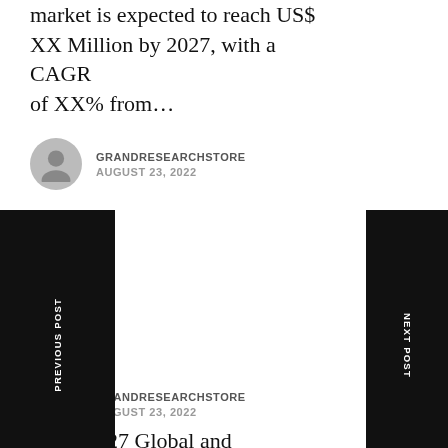market is expected to reach US$ XX Million by 2027, with a CAGR of XX% from...
GRANDRESEARCHSTORE
AUGUST 23, 2022
2022-2027 Global and Regional Ceramic Packaging Materials Industry Status and Prospects Professional Market Research Report Standard Version
...global Ceramic Packaging Materials market is expected to reach US$ XX Million by 2027, with a CAGR of XX%...
GRANDRESEARCHSTORE
AUGUST 23, 2022
2022-2027 Global and